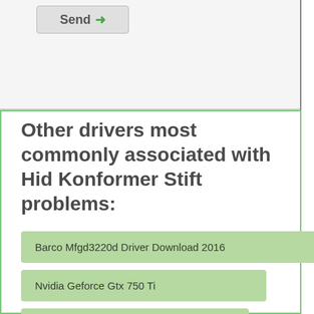[Figure (screenshot): Send button with arrow icon at top of page]
Other drivers most commonly associated with Hid Konformer Stift problems:
Barco Mfgd3220d Driver Download 2016
Nvidia Geforce Gtx 750 Ti
Ati Radeon Xpress 1100
Realtek Rtl8100 819x Family Pci Fast Ethernet...